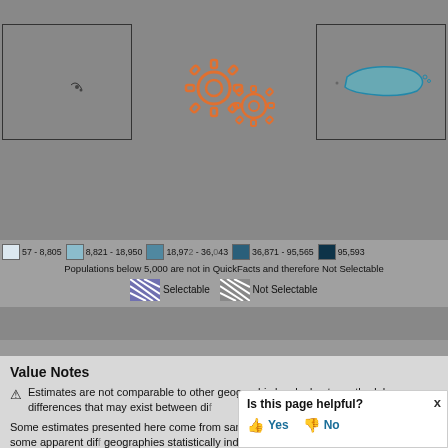[Figure (map): Two small map boxes showing geographic territories (left: small island chain, right: Puerto Rico outlined in teal) on gray background. Gear/settings icon overlay in the center.]
57 - 8,805   8,821 - 18,950   18,972 - 36,043   36,871 - 95,565   95,593
Populations below 5,000 are not in QuickFacts and therefore Not Selectable
Selectable   Not Selectable
Value Notes
Estimates are not comparable to other geographic levels due to methodology differences that may exist between di...
Some estimates presented here come from sample data, and thus have sampling errors that may render some apparent differences between geographies statistically indistinguishable. Click the...